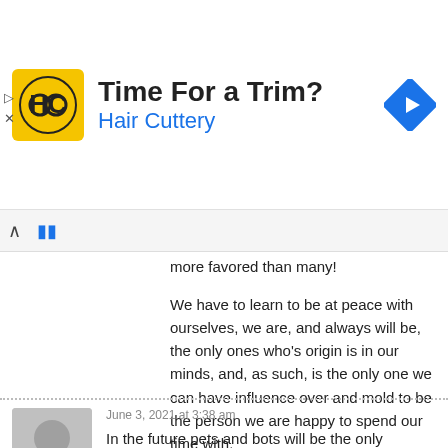[Figure (screenshot): Advertisement banner for Hair Cuttery with yellow HC logo, text 'Time For a Trim?' and 'Hair Cuttery' in blue, and a blue navigation/directions diamond icon on the right. Ad controls (play and close) on the left edge.]
more favored than many!
We have to learn to be at peace with ourselves, we are, and always will be, the only ones who's origin is in our minds, and, as such, is the only one we can have influence over and mold to be the person we are happy to spend our time with.
June 3, 2021 at 3:38 am
In the future pets and bots will be the only genuine, true friends we will have. As things